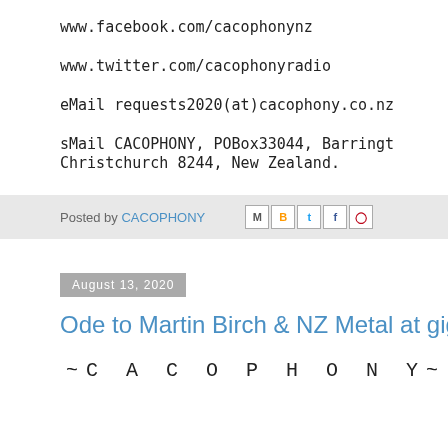www.facebook.com/cacophonynz
www.twitter.com/cacophonyradio
eMail requests2020(at)cacophony.co.nz
sMail CACOPHONY, POBox33044, Barringt... Christchurch 8244, New Zealand.
Posted by CACOPHONY
August 13, 2020
Ode to Martin Birch & NZ Metal at gigs... on
~C A C O P H O N Y~